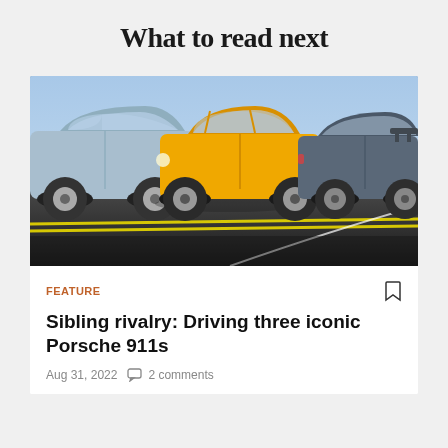What to read next
[Figure (photo): Three Porsche 911 cars parked side by side on a road with a clear sky background: a light blue 911 on the left, a yellow 911 in the center, and a dark blue/grey 911 on the right.]
FEATURE
Sibling rivalry: Driving three iconic Porsche 911s
Aug 31, 2022  2 comments